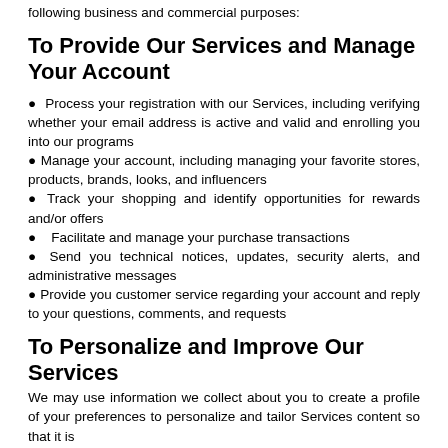following business and commercial purposes:
To Provide Our Services and Manage Your Account
Process your registration with our Services, including verifying whether your email address is active and valid and enrolling you into our programs
Manage your account, including managing your favorite stores, products, brands, looks, and influencers
Track your shopping and identify opportunities for rewards and/or offers
Facilitate and manage your purchase transactions
Send you technical notices, updates, security alerts, and administrative messages
Provide you customer service regarding your account and reply to your questions, comments, and requests
To Personalize and Improve Our Services
We may use information we collect about you to create a profile of your preferences to personalize and tailor Services content so that it is